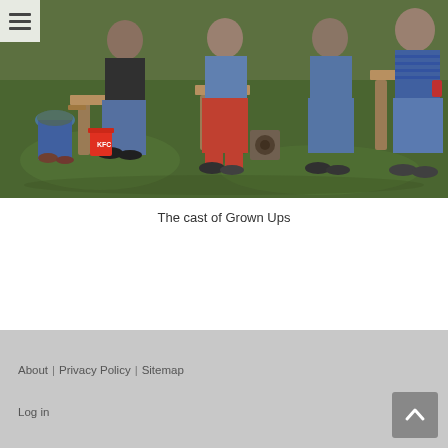☰ (hamburger menu icon)
[Figure (photo): Group of men sitting outdoors on wooden chairs/benches on grass, casual setting, with a KFC bucket visible on the left.]
The cast of Grown Ups
About | Privacy Policy | Sitemap
Log in